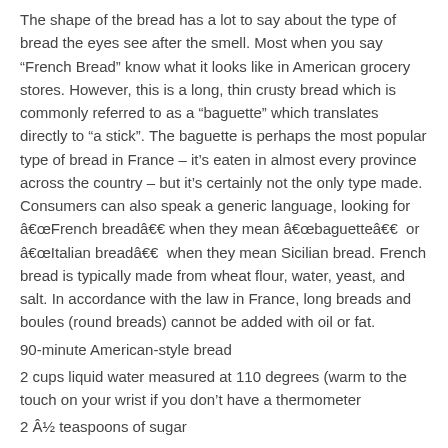The shape of the bread has a lot to say about the type of bread the eyes see after the smell. Most when you say “French Bread” know what it looks like in American grocery stores. However, this is a long, thin crusty bread which is commonly referred to as a “baguette” which translates directly to “a stick”. The baguette is perhaps the most popular type of bread in France – it’s eaten in almost every province across the country – but it’s certainly not the only type made. Consumers can also speak a generic language, looking for â€œFrench breadâ€ when they mean â€œbaguetteâ€  or â€œItalian breadâ€  when they mean Sicilian bread. French bread is typically made from wheat flour, water, yeast, and salt. In accordance with the law in France, long breads and boules (round breads) cannot be added with oil or fat.
90-minute American-style bread
2 cups liquid water measured at 110 degrees (warm to the touch on your wrist if you don’t have a thermometer
2 Â½ teaspoons of sugar
1 tablespoon of active dry yeast